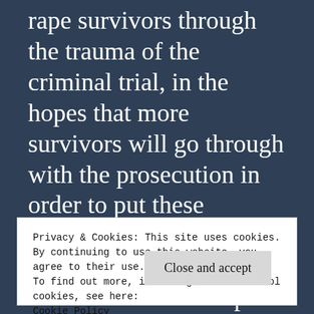rape survivors through the trauma of the criminal trial, in the hopes that more survivors will go through with the prosecution in order to put these perpetrators behind bars. Established in 2003, the foundation assists rape victims' families throughout the United States with travel expenses during the litigation process.
Privacy & Cookies: This site uses cookies. By continuing to use this website, you agree to their use.
To find out more, including how to control cookies, see here:
Cookie Policy
Close and accept